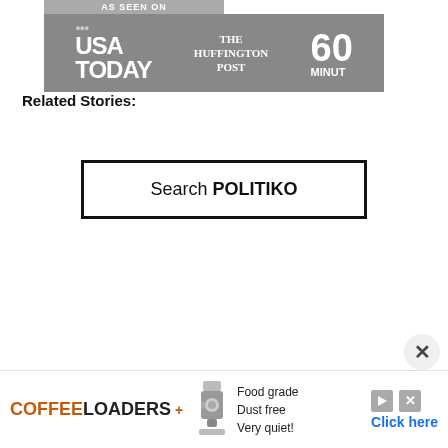[Figure (logo): Media logos banner: USA Today, The Huffington Post, 60 Minutes on grey background]
Related Stories:
[Figure (screenshot): Search box with text 'Search POLITIKO' in bold, black border]
[Figure (logo): Advertisement bar: COFFEELOADERS+ logo with machine illustration, text 'Food grade Dust free Very quiet!', Click here button in blue, play and close icons]